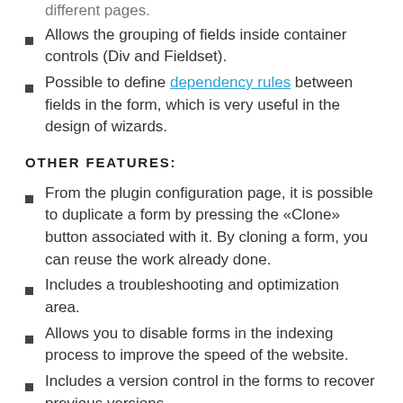different pages.
Allows the grouping of fields inside container controls (Div and Fieldset).
Possible to define dependency rules between fields in the form, which is very useful in the design of wizards.
OTHER FEATURES:
From the plugin configuration page, it is possible to duplicate a form by pressing the «Clone» button associated with it. By cloning a form, you can reuse the work already done.
Includes a troubleshooting and optimization area.
Allows you to disable forms in the indexing process to improve the speed of the website.
Includes a version control in the forms to recover previous versions.